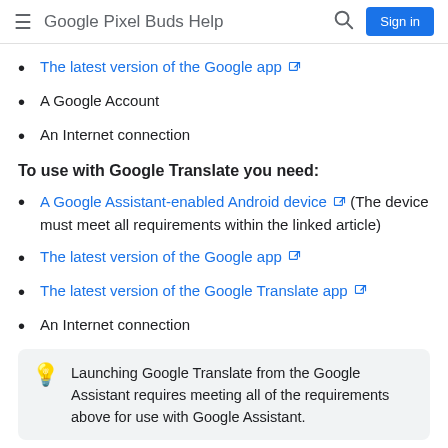Google Pixel Buds Help
The latest version of the Google app [external link]
A Google Account
An Internet connection
To use with Google Translate you need:
A Google Assistant-enabled Android device [external link] (The device must meet all requirements within the linked article)
The latest version of the Google app [external link]
The latest version of the Google Translate app [external link]
An Internet connection
Launching Google Translate from the Google Assistant requires meeting all of the requirements above for use with Google Assistant.